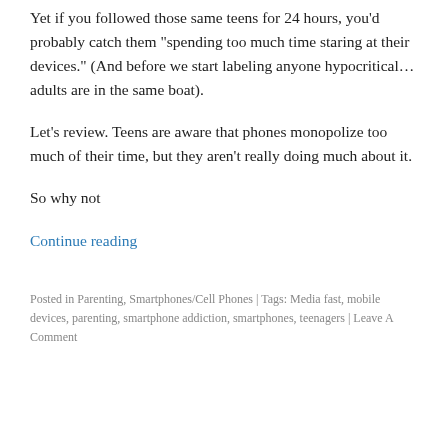Yet if you followed those same teens for 24 hours, you'd probably catch them “spending too much time staring at their devices.” (And before we start labeling anyone hypocritical… adults are in the same boat).
Let’s review. Teens are aware that phones monopolize too much of their time, but they aren’t really doing much about it.
So why not
Continue reading
Posted in Parenting, Smartphones/Cell Phones | Tags: Media fast, mobile devices, parenting, smartphone addiction, smartphones, teenagers | Leave A Comment